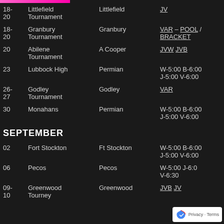| Date | Event | Location | Time/Level |
| --- | --- | --- | --- |
| 18-
20 | Littlefield Tournament | Littlefield | JV |
| 18-
20 | Granbury Tournament | Granbury | VAR – POOL / BRACKET |
| 20 | Abilene Tournament | A Cooper | JVW JVB |
| 23 | Lubbock High | Permian | W-5:00 B-6:00
J-5:00 V-6:00 |
| 26-
27 | Godley Tournament | Godley | VAR |
| 30 | Monahans | Permian | W-5:00 B-6:00
J-5:00 V-6:00 |
SEPTEMBER
| Date | Event | Location | Time/Level |
| --- | --- | --- | --- |
| 02 | Fort Stockton | Ft Stockton | W-5:00 B-6:00
J-5:00 V-6:00 |
| 06 | Pecos | Pecos | W-5:00 J-6:00
V-6:30 |
| 09-
10 | Greenwood Tourney | Greenwood | JVB JV |